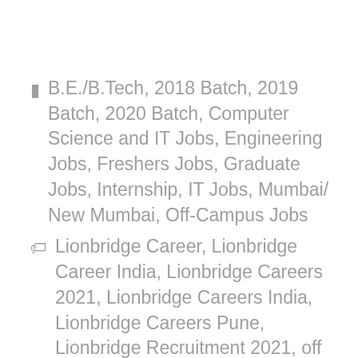B.E./B.Tech, 2018 Batch, 2019 Batch, 2020 Batch, Computer Science and IT Jobs, Engineering Jobs, Freshers Jobs, Graduate Jobs, Internship, IT Jobs, Mumbai/ New Mumbai, Off-Campus Jobs
Lionbridge Career, Lionbridge Career India, Lionbridge Careers 2021, Lionbridge Careers India, Lionbridge Careers Pune, Lionbridge Recruitment 2021, off campus 2019, off campus 2020off campus 2020 batch, off campus drive 2019, Off Campus...